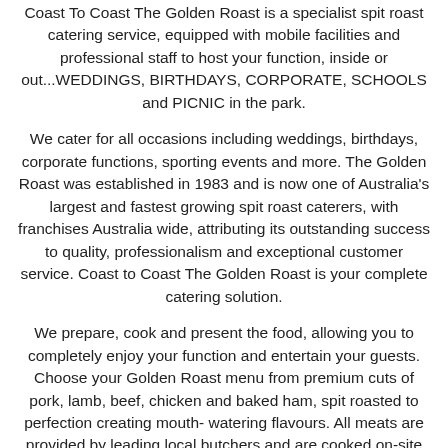Coast To Coast The Golden Roast is a specialist spit roast catering service, equipped with mobile facilities and professional staff to host your function, inside or out...WEDDINGS, BIRTHDAYS, CORPORATE, SCHOOLS and PICNIC in the park.
We cater for all occasions including weddings, birthdays, corporate functions, sporting events and more. The Golden Roast was established in 1983 and is now one of Australia's largest and fastest growing spit roast caterers, with franchises Australia wide, attributing its outstanding success to quality, professionalism and exceptional customer service. Coast to Coast The Golden Roast is your complete catering solution.
We prepare, cook and present the food, allowing you to completely enjoy your function and entertain your guests. Choose your Golden Roast menu from premium cuts of pork, lamb, beef, chicken and baked ham, spit roasted to perfection creating mouth- watering flavours. All meats are provided by leading local butchers and are cooked on-site to ensure quality and freshness.
Our professionally trained staff also are pleased to accommodate special dietary requests. Coast To Coast The Golden Roast also provides plates, bowls, cups, cutlery and